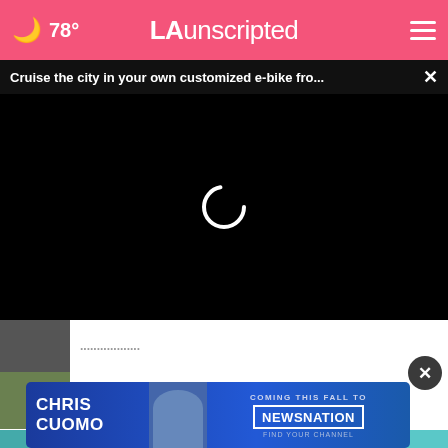78° LA unscripted
Cruise the city in your own customized e-bike fro... ×
[Figure (screenshot): Black video player area with a loading spinner (white circular arc) in the center]
[Figure (photo): Partially visible article thumbnail, dark image]
Disneyland goes green by replacing
[Figure (screenshot): Advertisement overlay for Chris Cuomo Coming This Fall to NewsNation, blue gradient background with photo of man in suit]
Mobi... (partially cut off article title)